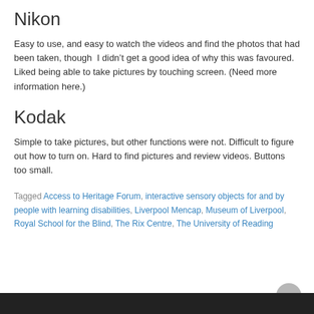Nikon
Easy to use, and easy to watch the videos and find the photos that had been taken, though  I didn’t get a good idea of why this was favoured. Liked being able to take pictures by touching screen. (Need more information here.)
Kodak
Simple to take pictures, but other functions were not. Difficult to figure out how to turn on. Hard to find pictures and review videos. Buttons too small.
Tagged Access to Heritage Forum, interactive sensory objects for and by people with learning disabilities, Liverpool Mencap, Museum of Liverpool, Royal School for the Blind, The Rix Centre, The University of Reading